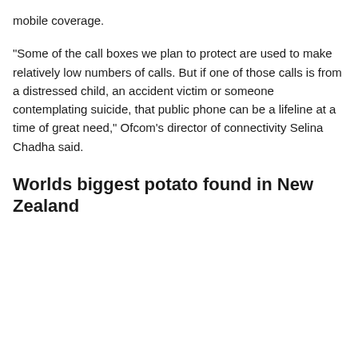mobile coverage.
“Some of the call boxes we plan to protect are used to make relatively low numbers of calls. But if one of those calls is from a distressed child, an accident victim or someone contemplating suicide, that public phone can be a lifeline at a time of great need,” Ofcom’s director of connectivity Selina Chadha said.
Worlds biggest potato found in New Zealand